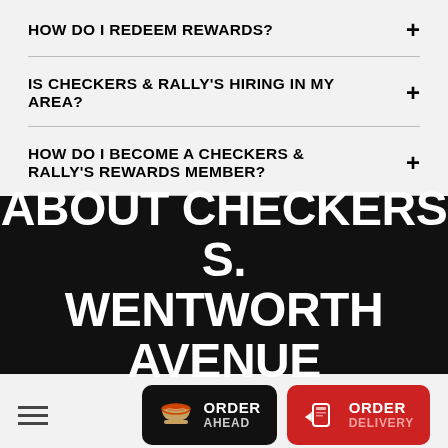HOW DO I REDEEM REWARDS?
IS CHECKERS & RALLY'S HIRING IN MY AREA?
HOW DO I BECOME A CHECKERS & RALLY'S REWARDS MEMBER?
ABOUT CHECKERS S. WENTWORTH AVENUE
[Figure (screenshot): Bottom navigation bar with hamburger menu icon on left and two order buttons: ORDER AHEAD (black) and ORDER DELIVERY (red), each with respective icons.]